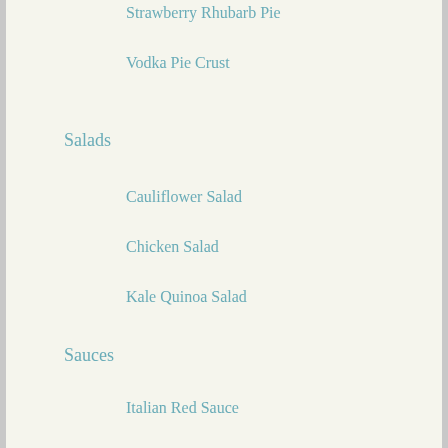Strawberry Rhubarb Pie
Vodka Pie Crust
Salads
Cauliflower Salad
Chicken Salad
Kale Quinoa Salad
Sauces
Italian Red Sauce
Lemon Tahini Dressing
Pesto
Pesto Cream Sauce
Side Dishes
Mexican Street Corn
Potato Latkes
Soup